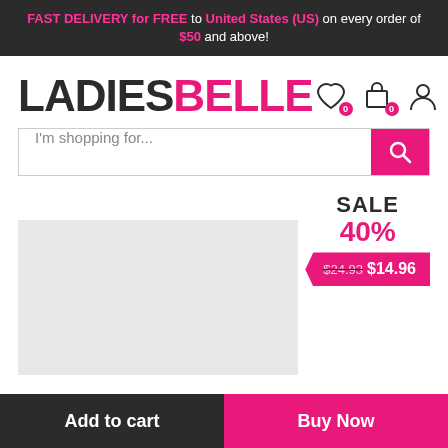FAST DELIVERY for FREE to United States (US) on every order of $50 and above!
[Figure (logo): LADIESBELLE logo with LADIES in dark gray and BELLE in pink, followed by wishlist icon with 0 badge, cart icon with 0 badge, and user account icon]
I'm shopping for...
[Figure (infographic): Product sale badge showing SALE 40% and price tag with old price $24.93 crossed out and new price $14.96, plus a light gray product image placeholder]
Add to cart
Buy Now